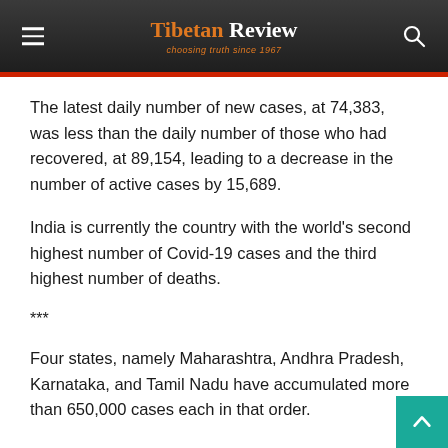Tibetan Review — choosing truth since 1967
The latest daily number of new cases, at 74,383, was less than the daily number of those who had recovered, at 89,154, leading to a decrease in the number of active cases by 15,689.
India is currently the country with the world's second highest number of Covid-19 cases and the third highest number of deaths.
***
Four states, namely Maharashtra, Andhra Pradesh, Karnataka, and Tamil Nadu have accumulated more than 650,000 cases each in that order.